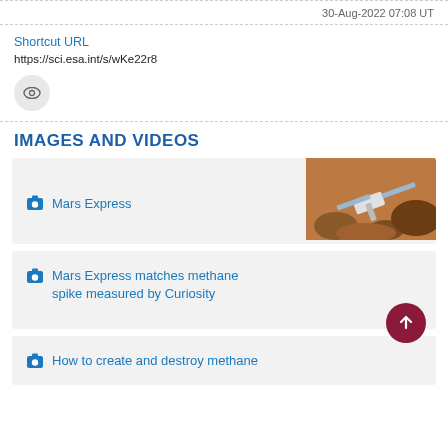30-Aug-2022 07:08 UT
Shortcut URL
https://sci.esa.int/s/wKe22r8
IMAGES AND VIDEOS
[Figure (photo): Camera icon and link card: Mars Express with thumbnail photo of Mars Express spacecraft on Mars surface]
[Figure (photo): Camera icon and link card: Mars Express matches methane spike measured by Curiosity]
[Figure (photo): Camera icon and link card: How to create and destroy methane]